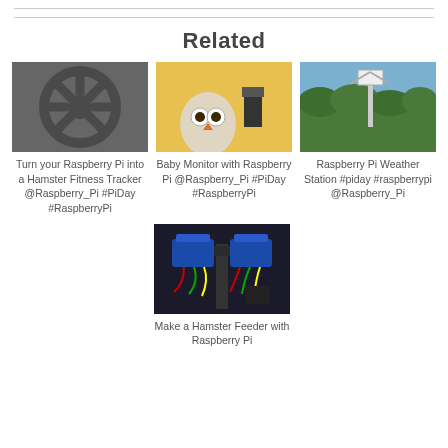Related
[Figure (photo): Dark grey steering wheel icon / hamster wheel graphic on grey background]
Turn your Raspberry Pi into a Hamster Fitness Tracker @Raspberry_Pi #PiDay #RaspberryPi
[Figure (photo): Owl plush toy peeking from yellow container with camera mount]
Baby Monitor with Raspberry Pi @Raspberry_Pi #PiDay #RaspberryPi
[Figure (photo): Outdoor weather station mounted on post surrounded by green bushes]
Raspberry Pi Weather Station #piday #raspberrypi @Raspberry_Pi
[Figure (photo): Electronic servo motor assembly with wires on black mount — hamster feeder]
Make a Hamster Feeder with Raspberry Pi